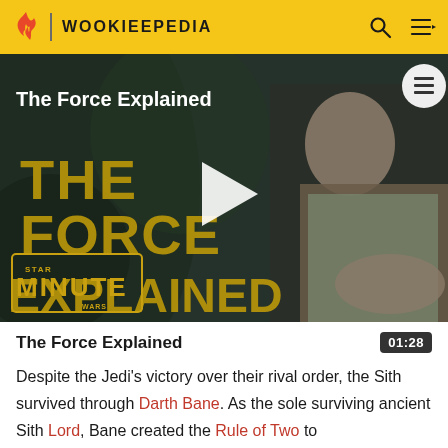WOOKIEEPEDIA
[Figure (screenshot): Video thumbnail for 'The Force Explained' showing Luke Skywalker in jungle setting with large gold title text 'THE FORCE EXPLAINED', Star Wars Minute logo, and white play button triangle in center]
The Force Explained
Despite the Jedi's victory over their rival order, the Sith survived through Darth Bane. As the sole surviving ancient Sith Lord, Bane created the Rule of Two to